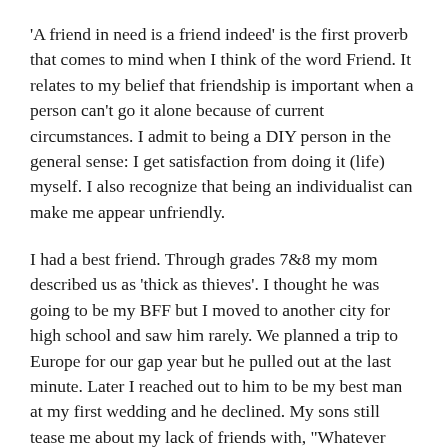'A friend in need is a friend indeed' is the first proverb that comes to mind when I think of the word Friend. It relates to my belief that friendship is important when a person can't go it alone because of current circumstances. I admit to being a DIY person in the general sense: I get satisfaction from doing it (life) myself. I also recognize that being an individualist can make me appear unfriendly.
I had a best friend. Through grades 7&8 my mom described us as 'thick as thieves'. I thought he was going to be my BFF but I moved to another city for high school and saw him rarely. We planned a trip to Europe for our gap year but he pulled out at the last minute. Later I reached out to him to be my best man at my first wedding and he declined. My sons still tease me about my lack of friends with, "Whatever happened to Horst?".